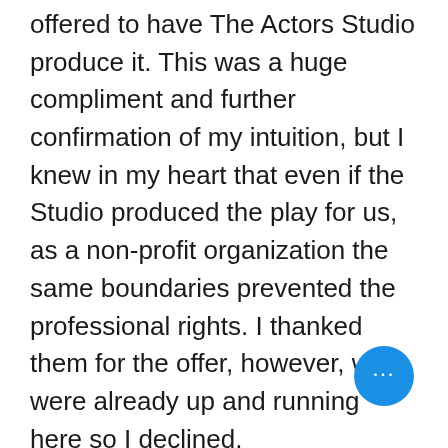offered to have The Actors Studio produce it. This was a huge compliment and further confirmation of my intuition, but I knew in my heart that even if the Studio produced the play for us, as a non-profit organization the same boundaries prevented the professional rights. I thanked them for the offer, however, we were already up and running here so I declined.
Martin Landau looked at me and said, "Well, we have to get Shanley to see this show, it will change his mind."
Meanwhile, acclaimed writer Lyle Kessler also attended the play and
[Figure (other): Blue circular button with three horizontal dots (ellipsis/more options button)]